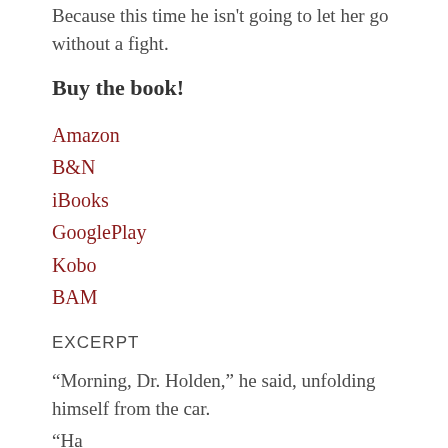Because this time he isn't going to let her go without a fight.
Buy the book!
Amazon
B&N
iBooks
GooglePlay
Kobo
BAM
EXCERPT
“Morning, Dr. Holden,” he said, unfolding himself from the car.
“Ha